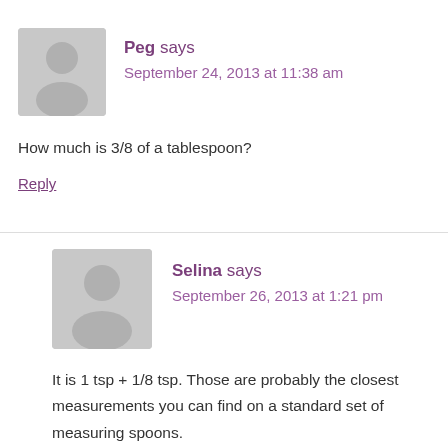Peg says
September 24, 2013 at 11:38 am
How much is 3/8 of a tablespoon?
Reply
Selina says
September 26, 2013 at 1:21 pm
It is 1 tsp + 1/8 tsp. Those are probably the closest measurements you can find on a standard set of measuring spoons.
Reply